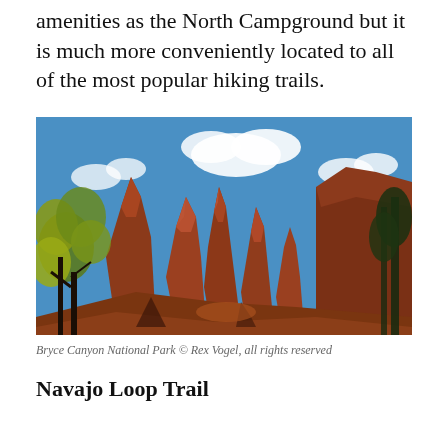amenities as the North Campground but it is much more conveniently located to all of the most popular hiking trails.
[Figure (photo): Bryce Canyon National Park showing red hoodoo rock formations with trees and blue sky with clouds]
Bryce Canyon National Park © Rex Vogel, all rights reserved
Navajo Loop Trail